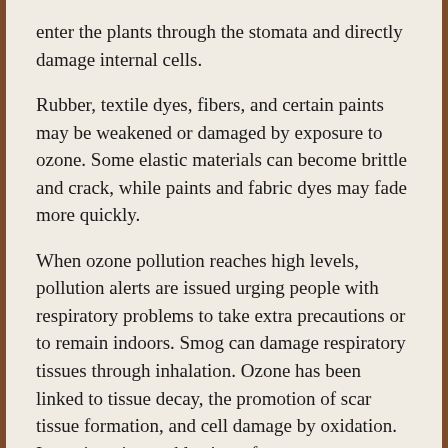enter the plants through the stomata and directly damage internal cells.
Rubber, textile dyes, fibers, and certain paints may be weakened or damaged by exposure to ozone. Some elastic materials can become brittle and crack, while paints and fabric dyes may fade more quickly.
When ozone pollution reaches high levels, pollution alerts are issued urging people with respiratory problems to take extra precautions or to remain indoors. Smog can damage respiratory tissues through inhalation. Ozone has been linked to tissue decay, the promotion of scar tissue formation, and cell damage by oxidation. It can impair an athlete's performance, create more frequent attacks for individuals with asthma, cause eye irritation, chest pain, coughing, nausea, headaches and chest congestion and discomfort. It can worsen heart disease, bronchitis, and emphysema.